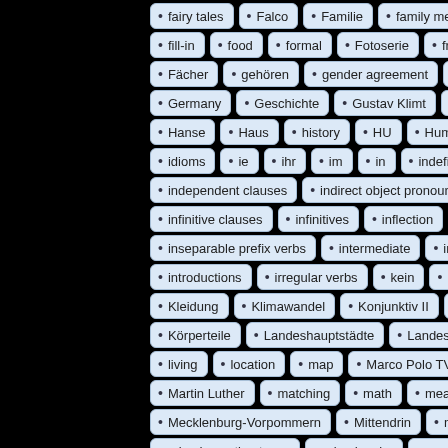[Figure (other): A tag cloud / keyword list of German language learning topics displayed as pill-shaped tags on a dark background. Tags include: fairy tales, Falco, Familie, family members, fill-in, food, formal, Fotoserie, front ch, Fächer, gehören, gender agreement, genitiv, Germany, Geschichte, Gustav Klimt, haben, Hanse, Haus, history, HU, Humboldt U, idioms, ie, ihr, im, in, indefinite ti, independent clauses, indirect object pronouns, in, infinitive clauses, infinitives, inflection, infor, inseparable prefix verbs, intermediate, internship, introductions, irregular verbs, kein, Klassenz, Kleidung, Klimawandel, Konjunktiv II, könne, Körperteile, Landeshauptstädte, Landeskunde, living, location, map, Marco Polo TV, m, Martin Luther, matching, math, meaning, Mecklenburg-Vorpommern, Mittendrin, mixed adje, mixed question types, mixed verbs, months]